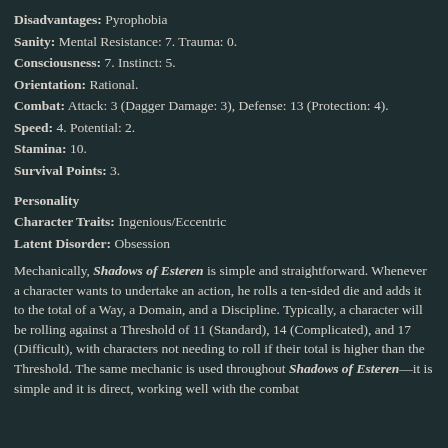Disadvantages: Pyrophobia
Sanity: Mental Resistance: 7. Trauma: 0.
Consciousness: 7. Instinct: 5.
Orientation: Rational.
Combat: Attack: 3 (Dagger Damage: 3), Defense: 13 (Protection: 4).
Speed: 4. Potential: 2.
Stamina: 10.
Survival Points: 3.
Personality
Character Traits: Ingenious/Eccentric
Latent Disorder: Obsession
Mechanically, Shadows of Esteren is simple and straightforward. Whenever a character wants to undertake an action, he rolls a ten-sided die and adds it to the total of a Way, a Domain, and a Discipline. Typically, a character will be rolling against a Threshold of 11 (Standard), 14 (Complicated), and 17 (Difficult), with characters not needing to roll if their total is higher than the Threshold. The same mechanic is used throughout Shadows of Esteren—it is simple and it is direct, working well with the combat